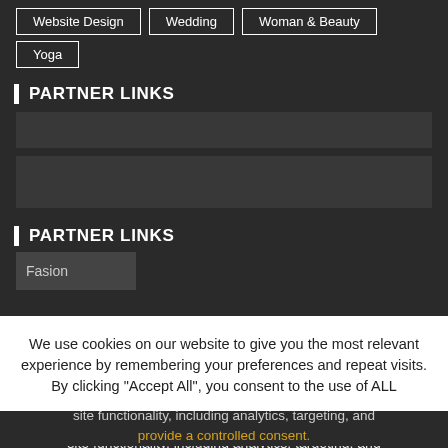Website Design
Wedding
Woman & Beauty
Yoga
PARTNER LINKS
[Figure (other): Empty partner link banner placeholder block 1]
[Figure (other): Empty partner link banner placeholder block 2]
PARTNER LINKS
Fasion
We use cookies on our website to give you the most relevant experience by remembering your preferences and repeat visits. By clicking "Accept All", you consent to the use of ALL cookies. However, you may visit "Cookie Settings" to provide a controlled consent.
This website stores data such as cookies to enable necessary site functionality, including analytics, targeting, and personalization. By remaining on this website you indicate your consent Cookie Policy